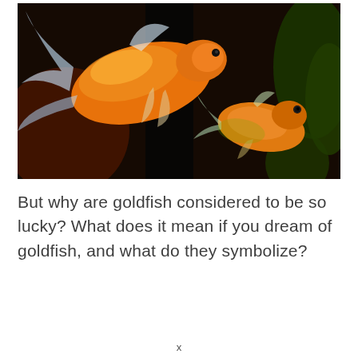[Figure (photo): Two orange goldfish swimming in a dark aquarium with green plants in the background. The larger fish is in the upper left with translucent flowing fins, and the smaller fish is to the right.]
But why are goldfish considered to be so lucky? What does it mean if you dream of goldfish, and what do they symbolize?
x